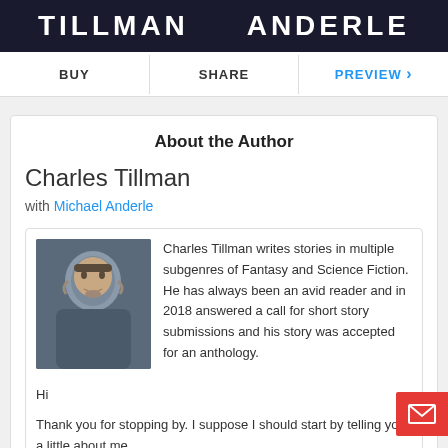[Figure (illustration): Book cover banner showing 'TILLMAN ANDERLE' in large white bold letters on a dark background]
BUY   SHARE   PREVIEW >
About the Author
Charles Tillman
with Michael Anderle
[Figure (photo): Author photo: middle-aged man with glasses and beard wearing a dark shirt, against a grey background]
Charles Tillman writes stories in multiple subgenres of Fantasy and Science Fiction. He has always been an avid reader and in 2018 answered a call for short story submissions and his story was accepted for an anthology.
Hi
Thank you for stopping by. I suppose I should start by telling you a little about me